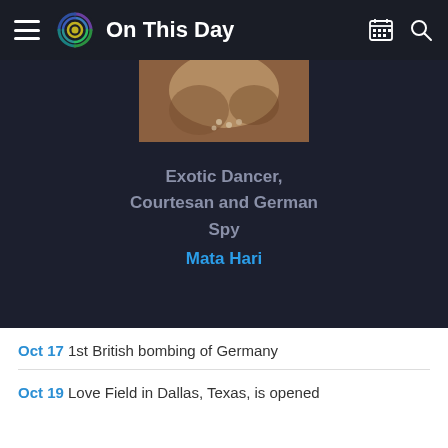On This Day
[Figure (photo): Partial photo of Mata Hari, historical figure]
Exotic Dancer, Courtesan and German Spy
Mata Hari
Oct 17 1st British bombing of Germany
Oct 19 Love Field in Dallas, Texas, is opened
[Figure (logo): Historic Event logo with colorful person/wifi icon]
Historic Event
Oct 20 US suffragette Alice Paul begins a 7 month